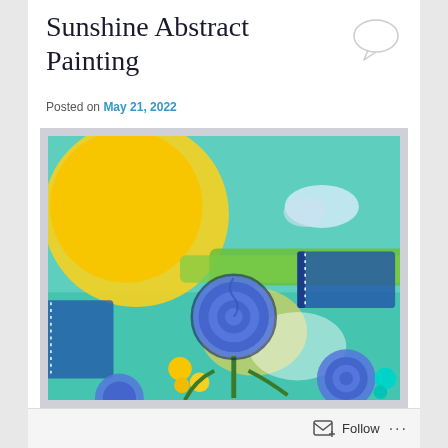Sunshine Abstract Painting
Posted on May 21, 2022
[Figure (photo): Abstract painting featuring a large yellow sun in the upper left, teal/turquoise background, blue rose flowers with green stems, small yellow round shapes, white cloud, green landscape strip, blue textured rectangular patches, and cyan dots in lower right.]
Follow